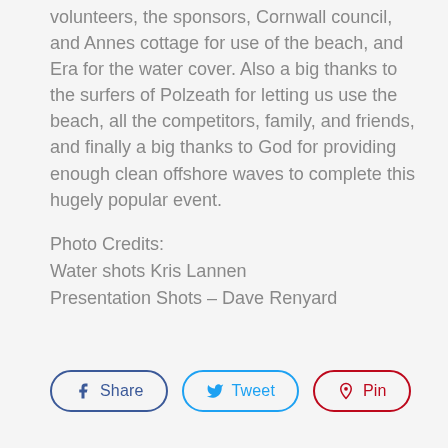volunteers, the sponsors, Cornwall council, and Annes cottage for use of the beach, and Era for the water cover. Also a big thanks to the surfers of Polzeath for letting us use the beach, all the competitors, family, and friends, and finally a big thanks to God for providing enough clean offshore waves to complete this hugely popular event.
Photo Credits:
Water shots Kris Lannen
Presentation Shots – Dave Renyard